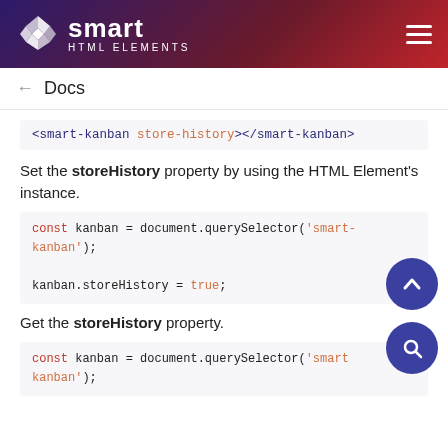smart HTML ELEMENTS
← Docs
<smart-kanban store-history></smart-kanban>
Set the storeHistory property by using the HTML Element's instance.
const kanban = document.querySelector('smart-kanban');

kanban.storeHistory = true;
Get the storeHistory property.
const kanban = document.querySelector('smart-kanban');